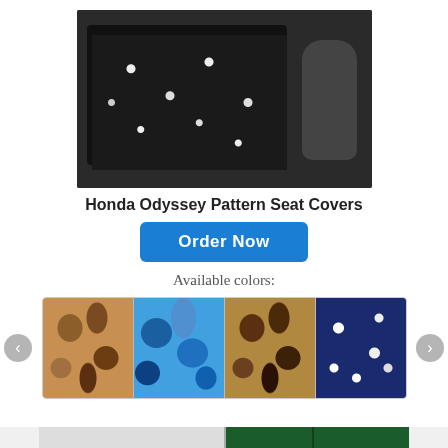[Figure (photo): Honda Odyssey car seat with black floral pattern seat cover, showing armrest on right side]
Honda Odyssey Pattern Seat Covers
Order Now
Available colors:
[Figure (photo): Four color swatches showing available seat cover patterns: brown camouflage, blue camouflage, tan/brown camouflage, and navy floral]
[Figure (photo): Green floral pattern seat covers installed in a vehicle, showing two seats side by side]
HOME  SHOP  CART  LINKS